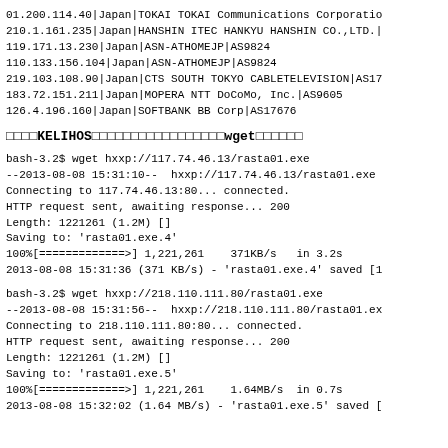01.200.114.40|Japan|TOKAI TOKAI Communications Corporatio
210.1.161.235|Japan|HANSHIN ITEC HANKYU HANSHIN CO.,LTD.|
119.171.13.230|Japan|ASN-ATHOMEJP|AS9824
110.133.156.104|Japan|ASN-ATHOMEJP|AS9824
219.103.108.90|Japan|CTS SOUTH TOKYO CABLETELEVISION|AS17
183.72.151.211|Japan|MOPERA NTT DoCoMo, Inc.|AS9605
126.4.196.160|Japan|SOFTBANK BB Corp|AS17676
□□□□KELIHOS□□□□□□□□□□□□□□□□□wget□□□□□□
bash-3.2$ wget hxxp://117.74.46.13/rasta01.exe
--2013-08-08 15:31:10--  hxxp://117.74.46.13/rasta01.exe
Connecting to 117.74.46.13:80... connected.
HTTP request sent, awaiting response... 200
Length: 1221261 (1.2M) []
Saving to: 'rasta01.exe.4'
100%[=============>] 1,221,261    371KB/s   in 3.2s
2013-08-08 15:31:36 (371 KB/s) - 'rasta01.exe.4' saved [1
bash-3.2$ wget hxxp://218.110.111.80/rasta01.exe
--2013-08-08 15:31:56--  hxxp://218.110.111.80/rasta01.ex
Connecting to 218.110.111.80:80... connected.
HTTP request sent, awaiting response... 200
Length: 1221261 (1.2M) []
Saving to: 'rasta01.exe.5'
100%[=============>] 1,221,261    1.64MB/s  in 0.7s
2013-08-08 15:32:02 (1.64 MB/s) - 'rasta01.exe.5' saved [